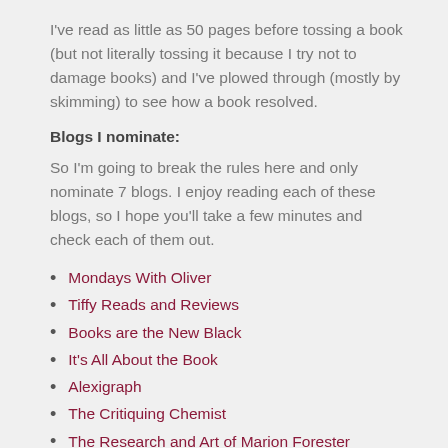I've read as little as 50 pages before tossing a book (but not literally tossing it because I try not to damage books) and I've plowed through (mostly by skimming) to see how a book resolved.
Blogs I nominate:
So I'm going to break the rules here and only nominate 7 blogs. I enjoy reading each of these blogs, so I hope you'll take a few minutes and check each of them out.
Mondays With Oliver
Tiffy Reads and Reviews
Books are the New Black
It's All About the Book
Alexigraph
The Critiquing Chemist
The Research and Art of Marion Forester